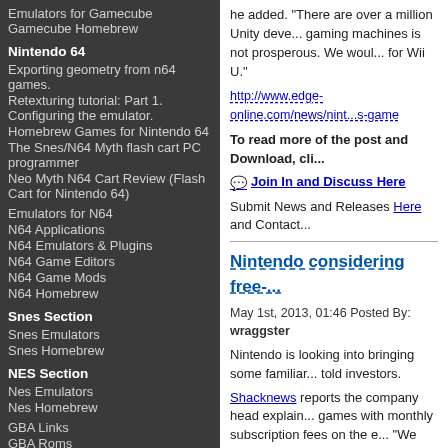Emulators for Gamecube Gamecube Homebrew
Nintendo 64
Exporting geometry from n64 games.
Retexturing tutorial: Part 1. Configuring the emulator.
Homebrew Games for Nintendo 64
The Snes/N64 Myth flash cart PC programmer
Neo Myth N64 Cart Review (Flash Cart for Nintendo 64)
Emulators for N64
N64 Applications
N64 Emulators & Plugins
N64 Game Editors
N64 Game Mods
N64 Homebrew
Snes Section
Snes Emulators
Snes Homebrew
NES Section
Nes Emulators
Nes Homebrew
GBA Links
GBA Roms
GBA/Nintendo Movie Player Firmware
he added. "There are over a million Unity deve... gaming machines is not prosperous. We woul... for Wii U."
http://www.edge-online.com/news/nint...s-game
To read more of the post and Download, cli...
Join In and Discuss Here
Submit News and Releases Here and Contact...
Nintendo considering free-...
May 1st, 2013, 01:46 Posted By: wraggster
Nintendo is looking into bringing some familiar... told investors.
Shacknews reports the company head explain... games with monthly subscription fees on the e... "We might have many other types of business... see more games that are similar to free-to-play... subscription fee."
"Nintendo 3DS and Wii U have flexible system... action."
Iwata concluded that no matter what avenues h... offerings beyond downloadable versions of ret... "I can definitely say that Nintendo wil... he...